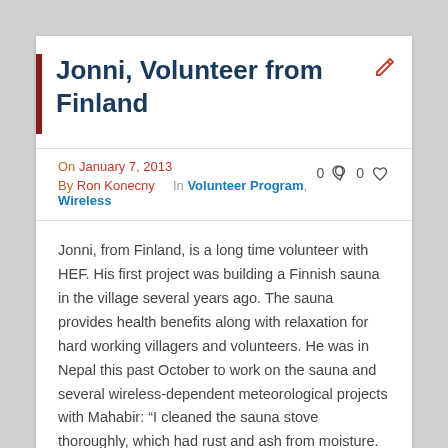Jonni, Volunteer from Finland
On January 7, 2013  By Ron Konecny  In Volunteer Program, Wireless
Jonni, from Finland, is a long time volunteer with HEF. His first project was building a Finnish sauna in the village several years ago. The sauna provides health benefits along with relaxation for hard working villagers and volunteers. He was in Nepal this past October to work on the sauna and several wireless-dependent meteorological projects with Mahabir: “I cleaned the sauna stove thoroughly, which had rust and ash from moisture. We made a new chimney for it. The old one was simple and broken, and I think rain could get in. Ash must be removed regularly so it does